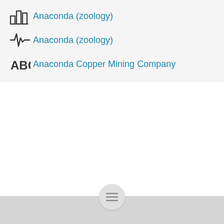Anaconda (zoology)
Anaconda (zoology)
Anaconda Copper Mining Company